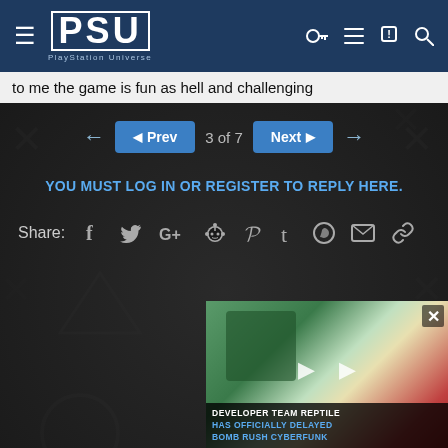PSU PlayStation Universe
to me the game is fun as hell and challenging
← Prev  3 of 7  Next →
YOU MUST LOG IN OR REGISTER TO REPLY HERE.
Share:
[Figure (screenshot): Video thumbnail showing a game screenshot with text overlay: DEVELOPER TEAM REPTILE HAS OFFICIALLY DELAYED BOMB RUSH CYBERFUNK]